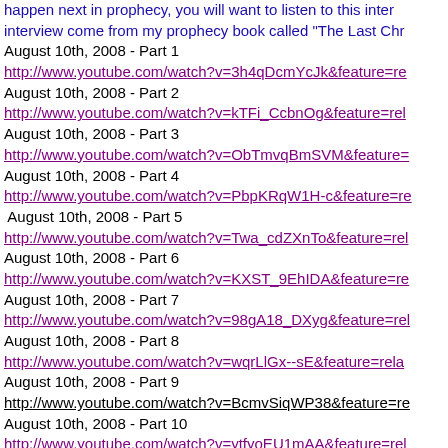happen next in prophecy, you will want to listen to this interview come from my prophecy book called "The Last Chr
August 10th, 2008 - Part 1
http://www.youtube.com/watch?v=3h4qDcmYcJk&feature=re
August 10th, 2008 - Part 2
http://www.youtube.com/watch?v=kTFi_CcbnOg&feature=rel
August 10th, 2008 - Part 3
http://www.youtube.com/watch?v=ObTmvqBmSVM&feature=
August 10th, 2008 - Part 4
http://www.youtube.com/watch?v=PbpKRqW1H-c&feature=re
August 10th, 2008 - Part 5
http://www.youtube.com/watch?v=Twa_cdZXnTo&feature=rel
August 10th, 2008 - Part 6
http://www.youtube.com/watch?v=KXST_9EhIDA&feature=re
August 10th, 2008 - Part 7
http://www.youtube.com/watch?v=98gA18_DXyg&feature=rel
August 10th, 2008 - Part 8
http://www.youtube.com/watch?v=wqrLlGx--sE&feature=rela
August 10th, 2008 - Part 9
http://www.youtube.com/watch?v=BcmvSiqWP38&feature=re
August 10th, 2008 - Part 10
http://www.youtube.com/watch?v=ytfyoEU1mAA&feature=rel
My 3rd radio interview on 'The Edge' International radio show below:
http://theedgeam.com/spiritual/wednesday/Revelation82708